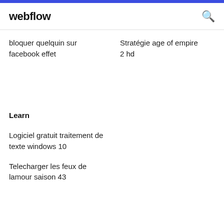webflow
bloquer quelquin sur facebook effet
Stratégie age of empire 2 hd
Learn
Logiciel gratuit traitement de texte windows 10
Telecharger les feux de lamour saison 43